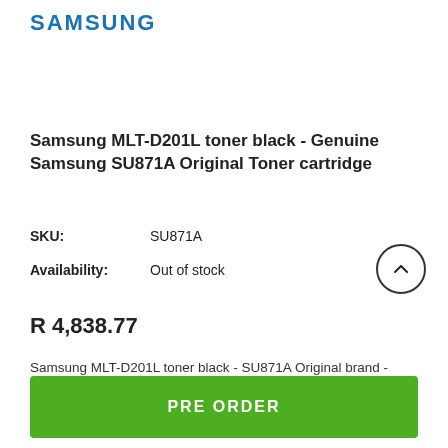[Figure (logo): Samsung logo in blue bold uppercase letters]
Samsung MLT-D201L toner black - Genuine Samsung SU871A Original Toner cartridge
SKU: SU871A
Availability: Out of stock
R 4,838.77
Samsung MLT-D201L toner black - SU871A Original brand - prints up to : 20000 pages
PRE ORDER